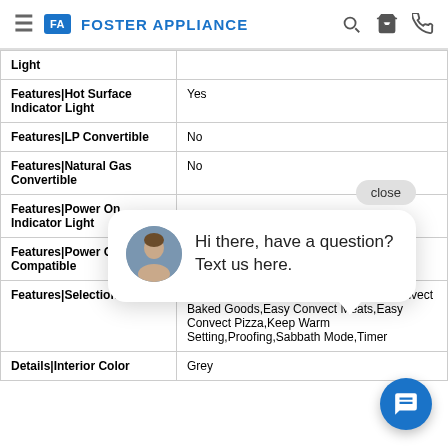Foster Appliance
| Feature | Value |
| --- | --- |
| Light |  |
| Features|Hot Surface Indicator Light | Yes |
| Features|LP Convertible | No |
| Features|Natural Gas Convertible | No |
| Features|Power On Indicator Light |  |
| Features|Power Outage Compatible |  |
| Features|Selection | Cook Time Indicator,Delay Start,Easy Convect Baked Goods,Easy Convect Meats,Easy Convect Pizza,Keep Warm Setting,Proofing,Sabbath Mode,Timer |
| Details|Interior Color | Grey |
[Figure (screenshot): Chat popup overlay with avatar and message: 'Hi there, have a question? Text us here.' with close button and blue chat bubble button]